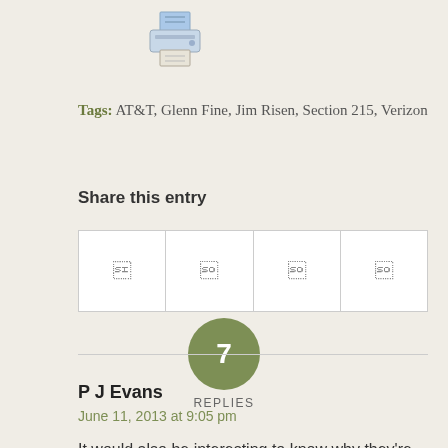[Figure (illustration): Printer icon (small illustration of a desktop printer)]
Tags: AT&T, Glenn Fine, Jim Risen, Section 215, Verizon
Share this entry
[Figure (infographic): Four social share buttons in a row, each showing a small icon]
7 REPLIES
P J Evans
June 11, 2013 at 9:05 pm
It would also be interesting to know why they're using contractors to do the work,